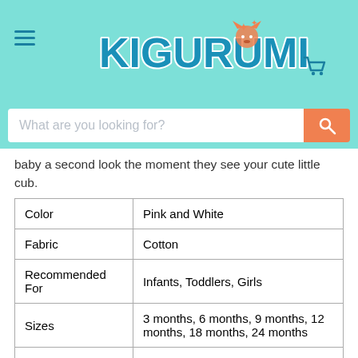Kigurumi [logo with character]
baby a second look the moment they see your cute little cub.
| Attribute | Value |
| --- | --- |
| Color | Pink and White |
| Fabric | Cotton |
| Recommended For | Infants, Toddlers, Girls |
| Sizes | 3 months, 6 months, 9 months, 12 months, 18 months, 24 months |
| Ideal during | Winter, Autumn, Halloween, Costume Parties, Daily Wear, Sleepwear |
| Design and Style | Long-sleeved onesie with symmetrical facial features of a fox |